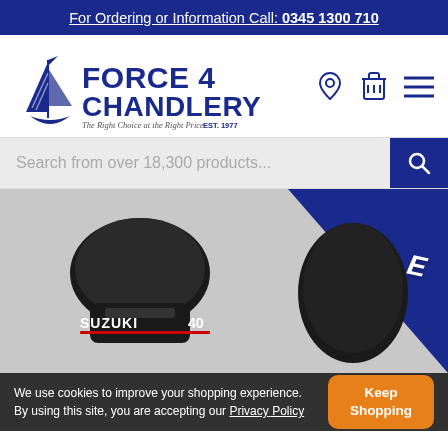For Ordering or Information Call: 0345 1300 710
[Figure (logo): Force 4 Chandlery logo with sailboat illustration, tagline 'The Right Choice at the Right Price', 'EST. 1977', and navigation icons (location pin, shopping basket, menu)]
Search from over 18,300 products...
[Figure (photo): Hero banner showing a Suzuki 40 outboard motor on the left and another dark product on the right, with a blue triangular graphic and 'SALE' text overlay]
We use cookies to improve your shopping experience. By using this site, you are accepting our Privacy Policy